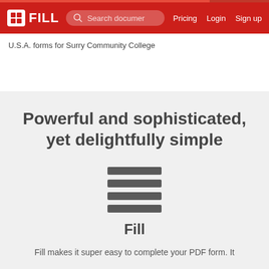FILL | Search documents | Pricing | Login | Sign up
U.S.A. forms for Surry Community College
Powerful and sophisticated, yet delightfully simple
[Figure (illustration): Four horizontal dark gray bars stacked vertically, representing a hamburger/list menu icon]
Fill
Fill makes it super easy to complete your PDF form. It